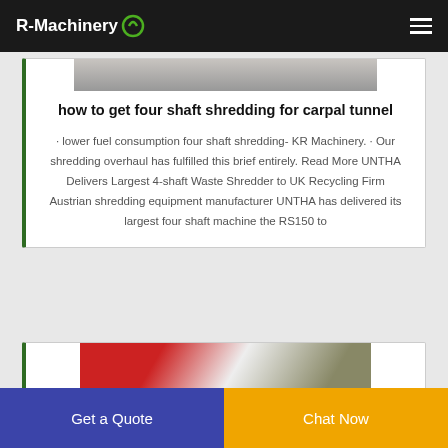R-Machinery
[Figure (photo): Top portion of a machinery/shredder image, partially visible at top of card]
how to get four shaft shredding for carpal tunnel
· lower fuel consumption four shaft shredding- KR Machinery. · Our shredding overhaul has fulfilled this brief entirely. Read More UNTHA Delivers Largest 4-shaft Waste Shredder to UK Recycling Firm Austrian shredding equipment manufacturer UNTHA has delivered its largest four shaft machine the RS150 to
[Figure (photo): Red and white industrial shredding machinery, partially visible at bottom of page]
Get a Quote
Chat Now